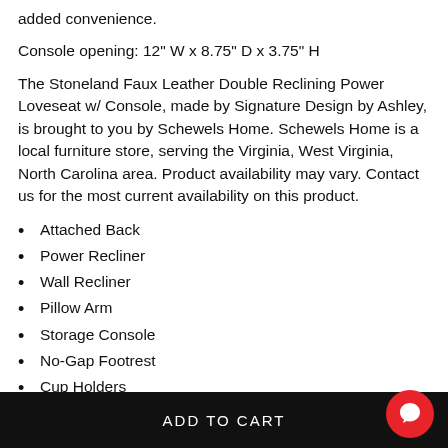added convenience.
Console opening: 12" W x 8.75" D x 3.75" H
The Stoneland Faux Leather Double Reclining Power Loveseat w/ Console, made by Signature Design by Ashley, is brought to you by Schewels Home. Schewels Home is a local furniture store, serving the Virginia, West Virginia, North Carolina area. Product availability may vary. Contact us for the most current availability on this product.
Attached Back
Power Recliner
Wall Recliner
Pillow Arm
Storage Console
No-Gap Footrest
Cup Holders
ADD TO CART